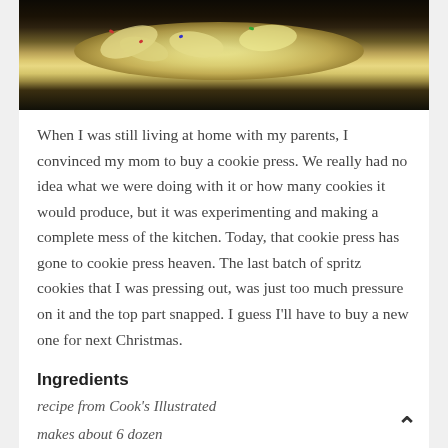[Figure (photo): Photo of spritz cookies on a dark blue/grey plate, viewed from above at an angle. Cookies are pale yellow/cream colored in small oval/teardrop shapes with colorful sprinkles.]
When I was still living at home with my parents, I convinced my mom to buy a cookie press. We really had no idea what we were doing with it or how many cookies it would produce, but it was experimenting and making a complete mess of the kitchen. Today, that cookie press has gone to cookie press heaven. The last batch of spritz cookies that I was pressing out, was just too much pressure on it and the top part snapped. I guess I'll have to buy a new one for next Christmas.
Ingredients
recipe from Cook's Illustrated
makes about 6 dozen
1 large egg yolk
1 tablespoon heavy cream
1 teaspoon vanilla extract